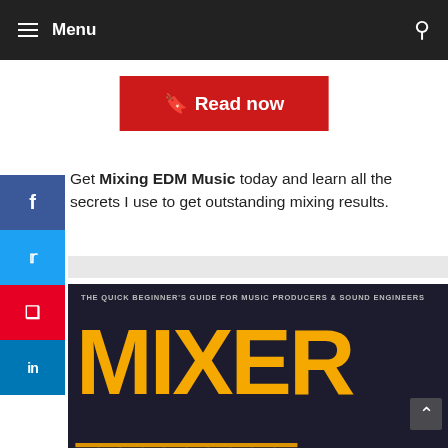Menu
[Figure (illustration): Red 'Read now' button with bookmark icon]
Get Mixing EDM Music today and learn all the secrets I use to get outstanding mixing results.
[Figure (photo): Book cover for 'Mixer Trainer: The Quick Beginner's Guide for Music Producers & Sound Engineers' with large orange MIXER text on dark background]